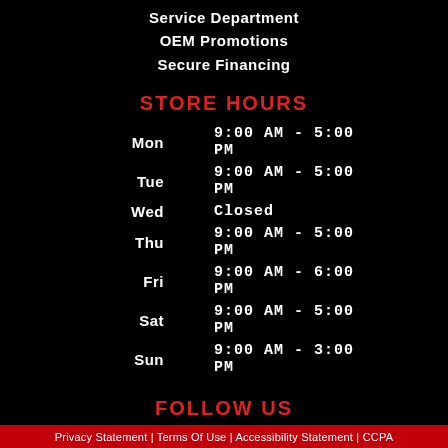Service Department
OEM Promotions
Secure Financing
STORE HOURS
| Day | Hours |
| --- | --- |
| Mon | 9:00 AM - 5:00 PM |
| Tue | 9:00 AM - 5:00 PM |
| Wed | Closed |
| Thu | 9:00 AM - 5:00 PM |
| Fri | 9:00 AM - 6:00 PM |
| Sat | 9:00 AM - 5:00 PM |
| Sun | 9:00 AM - 3:00 PM |
FOLLOW US
[Figure (logo): Facebook and YouTube social media icons]
Privacy Statement | Terms Of Use | Accessibility Statement | CCPA